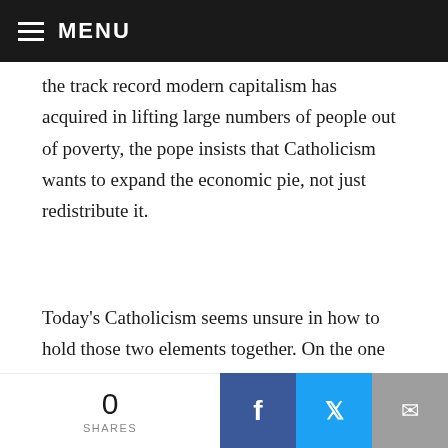MENU
the track record modern capitalism has acquired in lifting large numbers of people out of poverty, the pope insists that Catholicism wants to expand the economic pie, not just redistribute it.
Today’s Catholicism seems unsure in how to hold those two elements together. On the one hand, there is a proclivity—especially 50 years after Populorum progressio and with an Argentine Jesuit pope whose order has made “the service of faith, of which the promotion of justice is an absolute requirement”—to return to notions of
0 SHARES